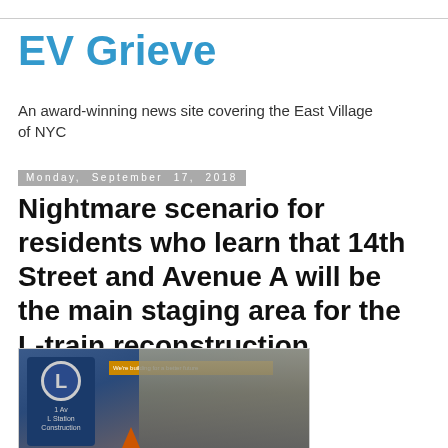EV Grieve
An award-winning news site covering the East Village of NYC
Monday, September 17, 2018
Nightmare scenario for residents who learn that 14th Street and Avenue A will be the main staging area for the L-train reconstruction
[Figure (photo): Photo of L train 1 Av Station Construction sign on a blue fence with orange banner text reading 'We're building for a better future' and an orange construction cone in the foreground, street scene in background]